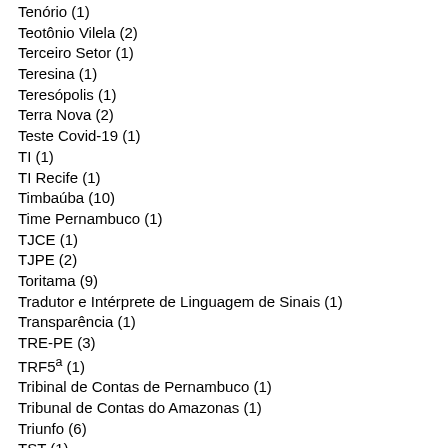Tenório (1)
Teotônio Vilela (2)
Terceiro Setor (1)
Teresina (1)
Teresópolis (1)
Terra Nova (2)
Teste Covid-19 (1)
TI (1)
TI Recife (1)
Timbaúba (10)
Time Pernambuco (1)
TJCE (1)
TJPE (2)
Toritama (9)
Tradutor e Intérprete de Linguagem de Sinais (1)
Transparência (1)
TRE-PE (3)
TRF5ª (1)
Tribinal de Contas de Pernambuco (1)
Tribunal de Contas do Amazonas (1)
Triunfo (6)
TST (1)
Tupanatinga (1)